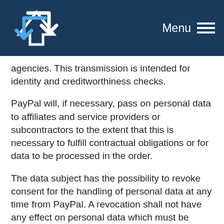PayPal privacy policy page header with logo and Menu
agencies. This transmission is intended for identity and creditworthiness checks.
PayPal will, if necessary, pass on personal data to affiliates and service providers or subcontractors to the extent that this is necessary to fulfill contractual obligations or for data to be processed in the order.
The data subject has the possibility to revoke consent for the handling of personal data at any time from PayPal. A revocation shall not have any effect on personal data which must be processed, used or transmitted in accordance with (contractual) payment processing.
The applicable data protection provisions of PayPal may be retrieved under